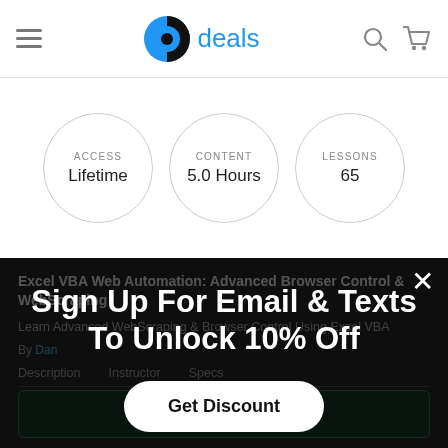Bdeals deals
[Figure (infographic): Three circular badges: ACCESS Lifetime, CONTENT 5.0 Hours, LESSONS 65]
Excel VBA Web Automation: Advanced Browser Control & WebScraping
Learn Advanced WebScraping & Browser Control Using Excel VBA
By Dan [instructor name]
Description
Instructor
Specs
Sign Up For Email & Texts To Unlock 10% Off
Get Discount
ADD TO CART (75)